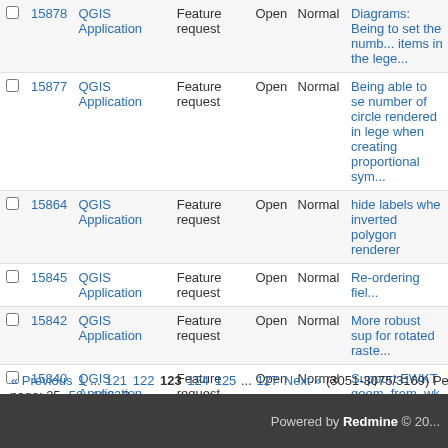|  | # | Project | Tracker | Status | Priority | Subject |
| --- | --- | --- | --- | --- | --- | --- |
|  | 15878 | QGIS Application | Feature request | Open | Normal | Diagrams: Being to set the number of items in the lege... |
|  | 15877 | QGIS Application | Feature request | Open | Normal | Being able to se number of circle rendered in lege when creating proportional sym... |
|  | 15864 | QGIS Application | Feature request | Open | Normal | hide labels whe inverted polygon renderer |
|  | 15845 | QGIS Application | Feature request | Open | Normal | Re-ordering fiel... |
|  | 15842 | QGIS Application | Feature request | Open | Normal | More robust sup for rotated raste... |
|  | 15840 | QGIS Application | Feature request | Open | Normal | Support EWKT geom_from_wk expression |
|  | 15834 | QGIS Application | Feature request | Open | Normal | add halos to gri in print compos... |
« Previous 1 ... 121 122 123 124 125 ... 127 Next » (3051-3075/3169) Per page: 25, 50, 100, 2...
Powered by Redmine © 20...